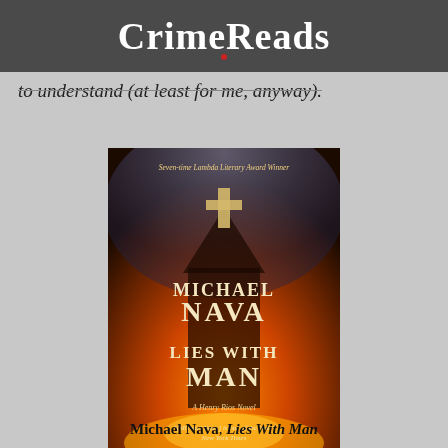CrimeReads
to understand (at least for me, anyway).
[Figure (illustration): Book cover of 'Lies With Man' by Michael Nava. A burning church with dramatic orange and smoke-filled background. Text reads: 'Seven-time Lambda Literary Award Winner', 'MICHAEL NAVA', 'LIES WITH MAN', 'A Henry Rios Novel', '[Michael Nava] is one of the best. — New York Times']
Michael Nava, Lies With Man